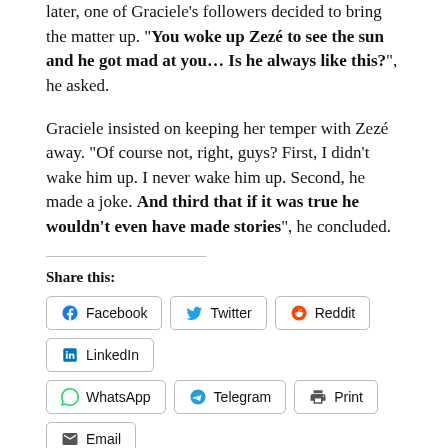later, one of Graciele’s followers decided to bring the matter up. “You woke up Zezé to see the sun and he got mad at you… Is he always like this?”, he asked.
Graciele insisted on keeping her temper with Zezé away. “Of course not, right, guys? First, I didn’t wake him up. I never wake him up. Second, he made a joke. And third that if it was true he wouldn’t even have made stories”, he concluded.
Share this:
Facebook Twitter Reddit LinkedIn WhatsApp Telegram Print Email
Entertainment